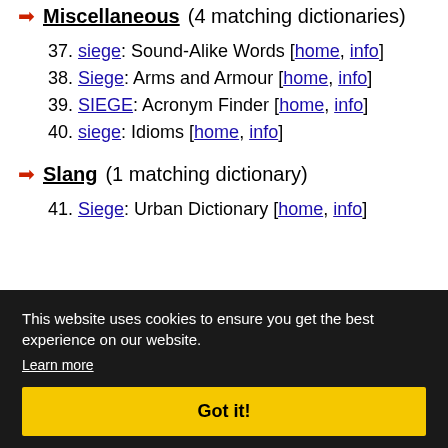Miscellaneous (4 matching dictionaries)
37. siege: Sound-Alike Words [home, info]
38. Siege: Arms and Armour [home, info]
39. SIEGE: Acronym Finder [home, info]
40. siege: Idioms [home, info]
Slang (1 matching dictionary)
41. Siege: Urban Dictionary [home, info]
This website uses cookies to ensure you get the best experience on our website.
Learn more
Got it!